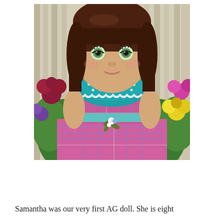[Figure (photo): An American Girl doll named Samantha with brown hair and green eyes, wearing a pink and blue plaid dress with a teal polka-dot collar trimmed with white lace and a light blue ribbon sash with a floral embellishment. The doll is photographed outdoors in a garden with colorful flowers and a wooden fence in the background.]
Samantha was our very first AG doll. She is eight